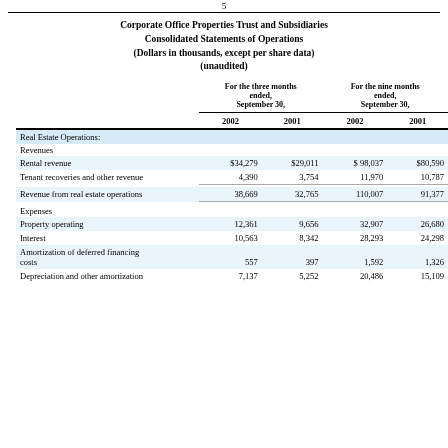5
Corporate Office Properties Trust and Subsidiaries
Consolidated Statements of Operations
(Dollars in thousands, except per share data)
(unaudited)
|  | For the three months ended, September 30, 2002 | For the three months ended, September 30, 2001 | For the nine months ended, September 30, 2002 | For the nine months ended, September 30, 2001 |
| --- | --- | --- | --- | --- |
| Real Estate Operations: |  |  |  |  |
| Revenues |  |  |  |  |
| Rental revenue | $34,279 | $29,011 | $  98,037 | $80,590 |
| Tenant recoveries and other revenue | 4,390 | 3,754 | 11,970 | 10,787 |
| Revenue from real estate operations | 38,669 | 32,765 | 110,007 | 91,377 |
| Expenses |  |  |  |  |
| Property operating | 12,361 | 9,656 | 32,907 | 26,680 |
| Interest | 10,563 | 8,342 | 28,293 | 24,298 |
| Amortization of deferred financing costs | 557 | 397 | 1,592 | 1,326 |
| Depreciation and other amortization | 7,137 | 5,252 | 20,486 | 15,109 |